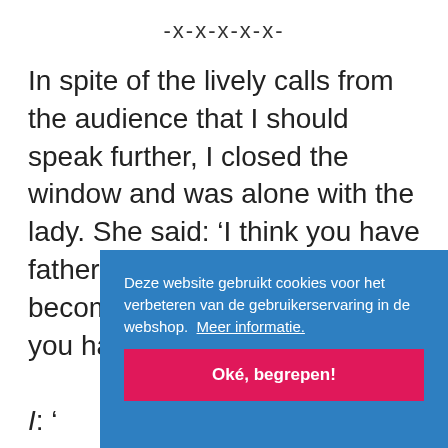-x-x-x-x-x-
In spite of the lively calls from the audience that I should speak further, I closed the window and was alone with the lady. She said: ‘I think you have fathered a child on me. It must become a legitimate child. Do you have your passport?’
I: ‘...ne...su...the...the...too, chance sometimes changes in a
[Figure (screenshot): Cookie consent overlay banner with blue background. Text reads: 'Deze website gebruikt cookies voor het verbeteren van de gebruikerservaring in de webshop. Meer informatie.' with a pink 'Oké, begrepen!' button.]